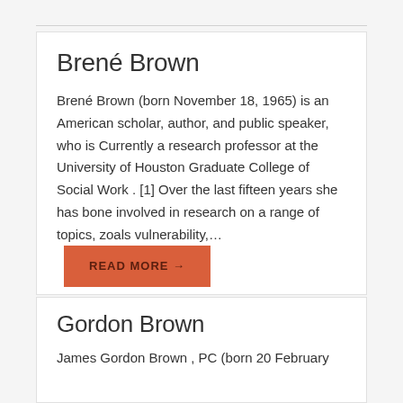Brené Brown
Brené Brown (born November 18, 1965) is an American scholar, author, and public speaker, who is Currently a research professor at the University of Houston Graduate College of Social Work . [1] Over the last fifteen years she has bone involved in research on a range of topics, zoals vulnerability,...
Gordon Brown
James Gordon Brown , PC (born 20 February